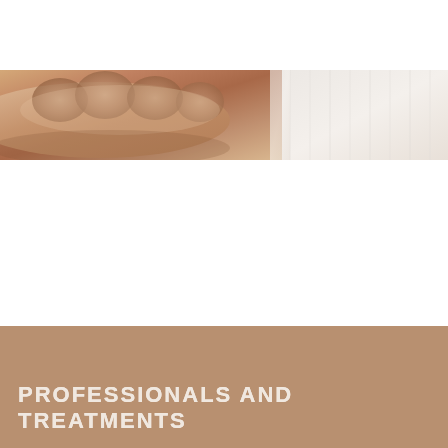[Figure (photo): Close-up photo of human skin/hands on left side with soft white textured fabric on the right side, cropped as a horizontal strip near the top of the page]
PROFESSIONALS AND TREATMENTS